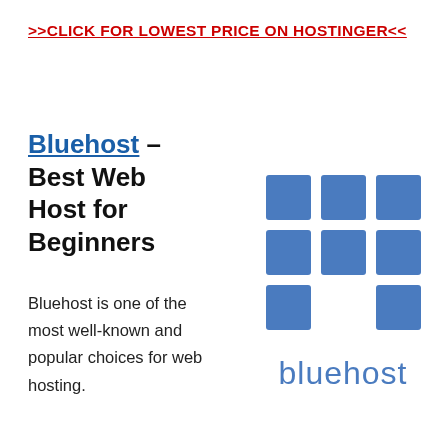>>CLICK FOR LOWEST PRICE ON HOSTINGER<<
Bluehost – Best Web Host for Beginners
[Figure (logo): Bluehost logo: 3x3 grid of blue squares with the word 'bluehost' in blue below]
Bluehost is one of the most well-known and popular choices for web hosting.